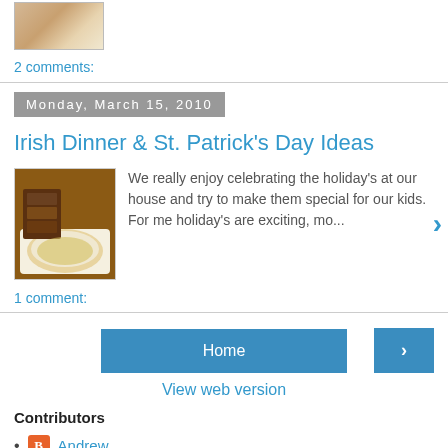[Figure (photo): Small thumbnail image of food at top of page]
2 comments:
Monday, March 15, 2010
Irish Dinner & St. Patrick's Day Ideas
[Figure (photo): Photo of Irish food - bread/sandwiches with a bowl of soup]
We really enjoy celebrating the holiday's at our house and try to make them special for our kids. For me holiday's are exciting, mo...
1 comment:
Home
View web version
Contributors
Andrew
Rachel
Sara